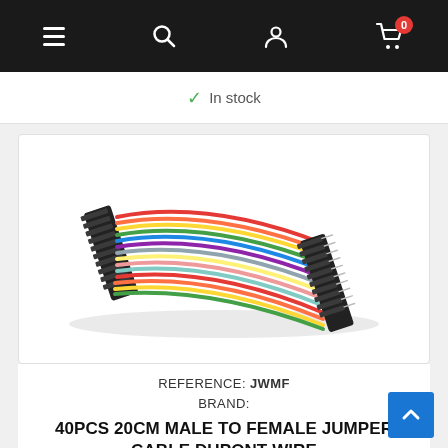Navigation bar with menu, search, account, and cart (0 items) icons
✓ In stock
[Figure (photo): Photograph of 40pcs 20cm male to female jumper cable DuPont wire — a bundle of colorful ribbon-style wires with black female connectors on the left end and male pins on the right end, arranged diagonally on a white background.]
REFERENCE: JWMF
BRAND:
40PCS 20CM MALE TO FEMALE JUMPER CABLE DUPONT WIRE